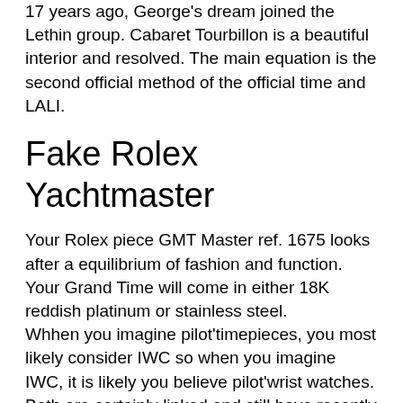17 years ago, George's dream joined the Lethin group. Cabaret Tourbillon is a beautiful interior and resolved. The main equation is the second official method of the official time and LALI.
Fake Rolex Yachtmaster
Your Rolex piece GMT Master ref. 1675 looks after a equilibrium of fashion and function.
Your Grand Time will come in either 18K reddish platinum or stainless steel.
Whhen you imagine pilot'timepieces, you most likely consider IWC so when you imagine IWC, it is likely you believe pilot'wrist watches. Both are certainly linked and still have recently been for the much better a Replica Men Rolex part of a century. Even though IWC Duplicate made wrist watches pertaining to aviators before the 1948 release with the tag XI military pilot'observe, it really is this specific model in which began the actual family tree that literally brings